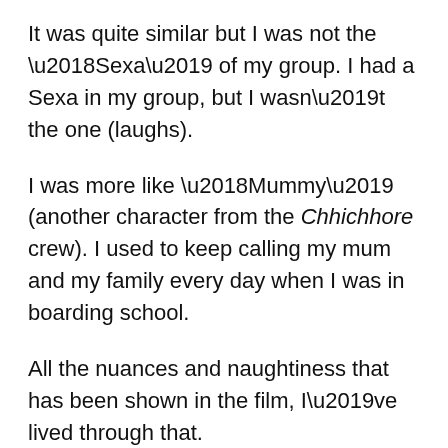It was quite similar but I was not the ‘Sexa’ of my group. I had a Sexa in my group, but I wasn’t the one (laughs).
I was more like ‘Mummy’ (another character from the Chhichhore crew). I used to keep calling my mum and my family every day when I was in boarding school.
All the nuances and naughtiness that has been shown in the film, I’ve lived through that.
There has been an ‘Acid’ – who has sworn a lot, there has been a ‘Sexa’ who smuggled the things all boys wanted. These characters were there in